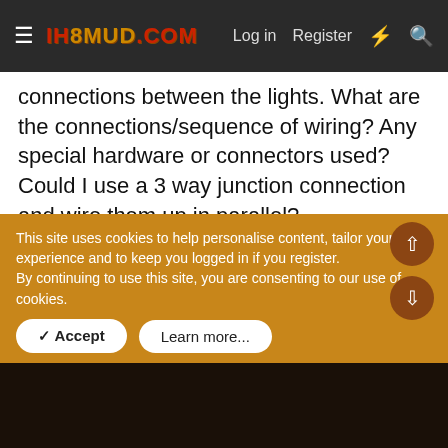IH8MUD.COM — Log in  Register
connections between the lights. What are the connections/sequence of wiring? Any special hardware or connectors used? Could I use a 3 way junction connection and wire them up in parallel?
[Figure (photo): Outdoor forest scene with tall trees and green foliage, viewed from below looking up.]
This site uses cookies to help personalise content, tailor your experience and to keep you logged in if you register.
By continuing to use this site, you are consenting to our use of cookies.